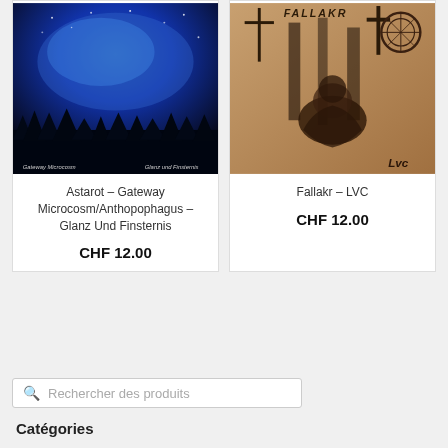[Figure (photo): Album cover for Astarot – Gateway Microcosm/Anthopophagus – Glanz Und Finsternis: dark blue/purple night sky with forest silhouette, text 'Gateway Microcosm' and 'Glanz und Finsternis' at bottom]
Astarot – Gateway Microcosm/Anthopophagus – Glanz Und Finsternis
CHF 12.00
[Figure (photo): Album cover for Fallakr – LVC: dark ink drawing of crouching figures, crosses, and gothic imagery on tan background, text 'FALLAKR' at top and 'Lvc' at bottom right]
Fallakr – LVC
CHF 12.00
Rechercher des produits
Catégories